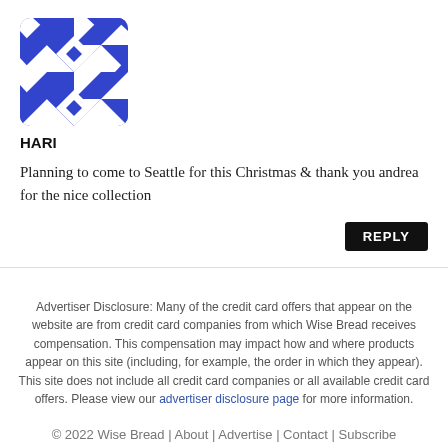[Figure (illustration): Blue and white geometric quilt-pattern avatar image for user HARI]
HARI
Planning to come to Seattle for this Christmas & thank you andrea for the nice collection
REPLY
Advertiser Disclosure: Many of the credit card offers that appear on the website are from credit card companies from which Wise Bread receives compensation. This compensation may impact how and where products appear on this site (including, for example, the order in which they appear). This site does not include all credit card companies or all available credit card offers. Please view our advertiser disclosure page for more information.
© 2022 Wise Bread | About | Advertise | Contact | Subscribe
User Agreement | Privacy Policy